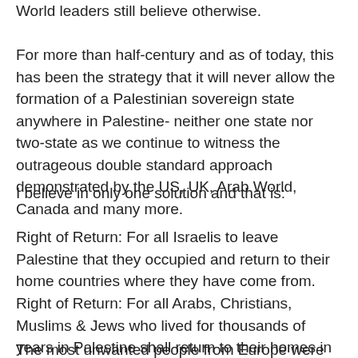World leaders still believe otherwise.
For more than half-century and as of today, this has been the strategy that it will never allow the formation of a Palestinian sovereign state anywhere in Palestine- neither one state nor two-state as we continue to witness the outrageous double standard approach demonstrated by the US, UK, Arab World, Canada and many more.
I believe in only one solution and that is:
Right of Return: For all Israelis to leave Palestine that they occupied and return to their home countries where they have come from.
Right of Return: For all Arabs, Christians, Muslims & Jews who lived for thousands of years in Palestine shall return to their homes in Palestine and practice their faith.
The most unwanted people from Europe were dumped on